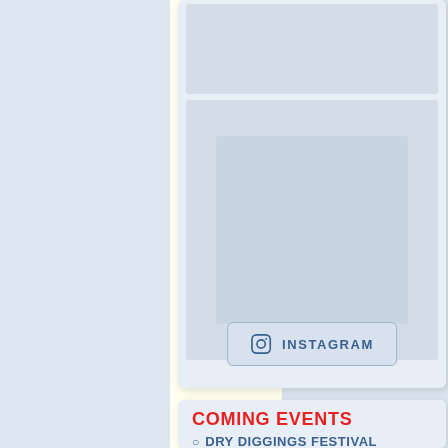[Figure (screenshot): Social media card with photo grid and Instagram button. Top image area is a light blue-grey placeholder. Middle image area contains a smaller nested image placeholder. An Instagram button with icon and text is at the bottom of the card.]
INSTAGRAM
COMING EVENTS
DRY DIGGINGS FESTIVAL